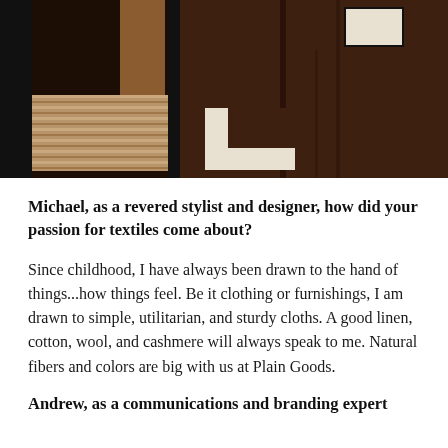[Figure (photo): Close-up photograph of textile fabric swatches showing woven patterns in dark brown, black, tan/beige, and white/cream colors with geometric designs.]
Michael, as a revered stylist and designer, how did your passion for textiles come about?
Since childhood, I have always been drawn to the hand of things...how things feel. Be it clothing or furnishings, I am drawn to simple, utilitarian, and sturdy cloths. A good linen, cotton, wool, and cashmere will always speak to me. Natural fibers and colors are big with us at Plain Goods.
Andrew, as a communications and branding expert